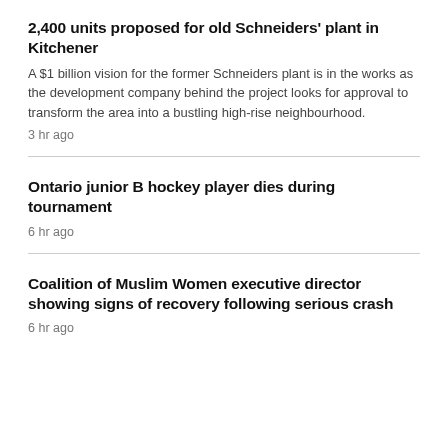2,400 units proposed for old Schneiders' plant in Kitchener
A $1 billion vision for the former Schneiders plant is in the works as the development company behind the project looks for approval to transform the area into a bustling high-rise neighbourhood.
3 hr ago
Ontario junior B hockey player dies during tournament
6 hr ago
Coalition of Muslim Women executive director showing signs of recovery following serious crash
6 hr ago